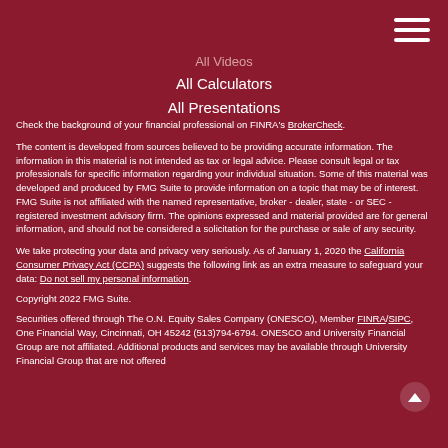All Videos
All Calculators
All Presentations
Check the background of your financial professional on FINRA's BrokerCheck.
The content is developed from sources believed to be providing accurate information. The information in this material is not intended as tax or legal advice. Please consult legal or tax professionals for specific information regarding your individual situation. Some of this material was developed and produced by FMG Suite to provide information on a topic that may be of interest. FMG Suite is not affiliated with the named representative, broker - dealer, state - or SEC - registered investment advisory firm. The opinions expressed and material provided are for general information, and should not be considered a solicitation for the purchase or sale of any security.
We take protecting your data and privacy very seriously. As of January 1, 2020 the California Consumer Privacy Act (CCPA) suggests the following link as an extra measure to safeguard your data: Do not sell my personal information.
Copyright 2022 FMG Suite.
Securities offered through The O.N. Equity Sales Company (ONESCO), Member FINRA/SIPC, One Financial Way, Cincinnati, OH 45242 (513)794-6794. ONESCO and University Financial Group are not affiliated. Additional products and services may be available through University Financial Group that are not offered